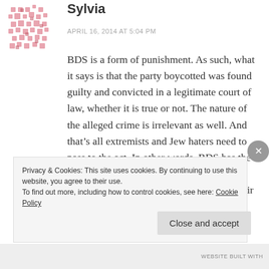[Figure (illustration): A pink/red decorative avatar icon with a pattern, used as a user profile image.]
Sylvia
APRIL 16, 2014 AT 5:04 PM
BDS is a form of punishment. As such, what it says is that the party boycotted was found guilty and convicted in a legitimate court of law, whether it is true or not. The nature of the alleged crime is irrelevant as well. And that’s all extremists and Jew haters need to pass to the act. In other words, BDS has the ability to empower would be assassins and provide them with the justifications for their actions.
Privacy & Cookies: This site uses cookies. By continuing to use this website, you agree to their use.
To find out more, including how to control cookies, see here: Cookie Policy
Close and accept